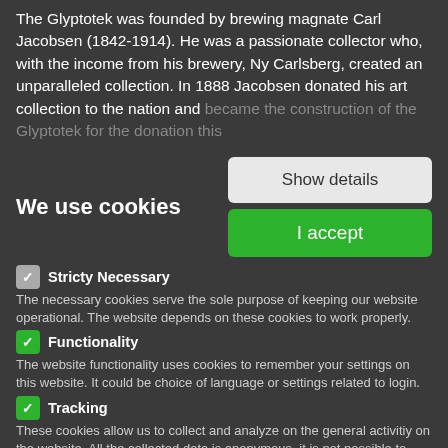The Glyptotek was founded by brewing magnate Carl Jacobsen (1842-1914). He was a passionate collector who, with the income from his brewery, Ny Carlsberg, created an unparalleled collection. In 1888 Jacobsen donated his art collection to the nation and became the construction of the Glyptotek for the donation this
We use cookies
[Figure (screenshot): Show details button (light gray rounded rectangle) and I accept button (green rounded rectangle)]
Stricty Necessary - The necessary cookies serve the sole purpose of keeping our website operational. The website depends on these cookies to work properly.
Functionality - The website functionality uses cookies to remember your settings on this website. It could be choice of language or settings related to login.
Tracking - These cookies allow us to collect and analyze on the general activitiy on the website. All the collected data is anonymous, it is not possible to identify any personal information. For example, it lets us know how long time visitors spend on the website and on which pages. It gives us insight into which content has the greatest value for our visitors and